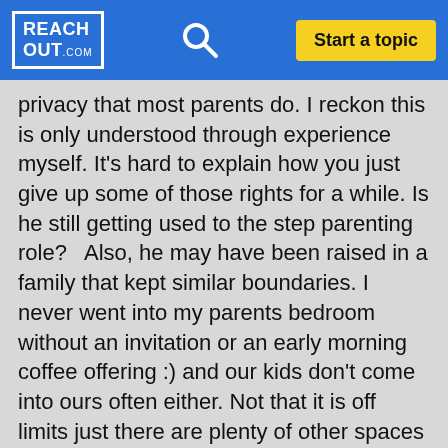REACHOUT.com | Search | Start a topic
privacy that most parents do. I reckon this is only understood through experience myself. It's hard to explain how you just give up some of those rights for a while. Is he still getting used to the step parenting role?   Also, he may have been raised in a family that kept similar boundaries. I never went into my parents bedroom without an invitation or an early morning  coffee offering :) and our kids don't come into ours often either. Not that it is off limits just there are plenty of other spaces to connect.    Your husband does have a right to a personal space. I imagine he doesn't often wander into the kids rooms or bathroom. As a step parent he has to be much more mindful of all these privacy concerns than we realise. It might really worry him. And maybe he's like my